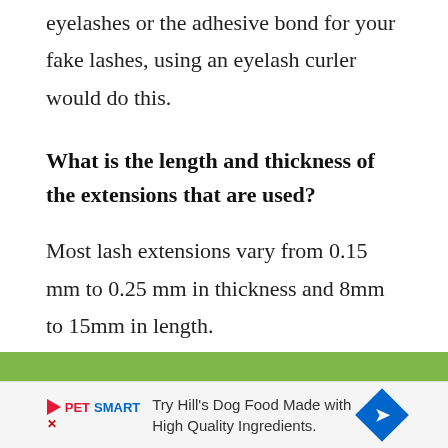eyelashes or the adhesive bond for your fake lashes, using an eyelash curler would do this.
What is the length and thickness of the extensions that are used?
Most lash extensions vary from 0.15 mm to 0.25 mm in thickness and 8mm to 15mm in length.
[Figure (other): PetSmart advertisement banner: 'Try Hill's Dog Food Made with High Quality Ingredients.' with PetSmart logo and blue diamond arrow icon.]